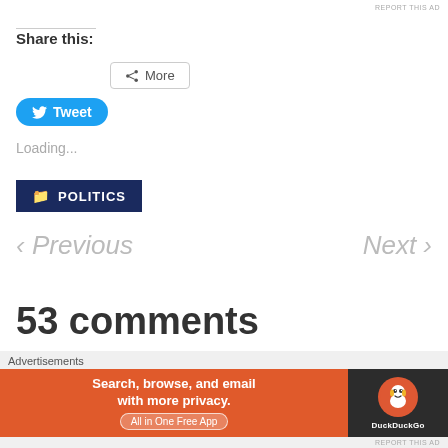REPORT THIS AD
Share this:
More
Tweet
Loading...
POLITICS
< Previous
Next >
53 comments
Advertisements
Search, browse, and email with more privacy. All in One Free App
DuckDuckGo
REPORT THIS AD